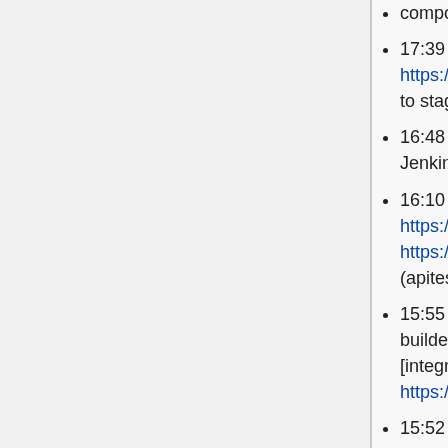composer not vendor on REL1_35 T277750
17:39 marxarelli: deploying https://gerrit.wikimedia.org/r/c/blubber/+/671199 to staging
16:48 hashar: Purging openjdk-8 packages from Jenkins agents # T269354
16:10 addshore: reload zuul for https://gerrit.wikimedia.org/r/6732008 and https://gerrit.wikimedia.org/r/673211 T277750 (apitests php versions)
15:55 addshore: reload zuul for Introduce query-builder job so it can use npm 6.14.* instead [integration/config] - https://gerrit.wikimedia.org/r/6731883 T277060
15:52 hashar: Disconnecting a bunch